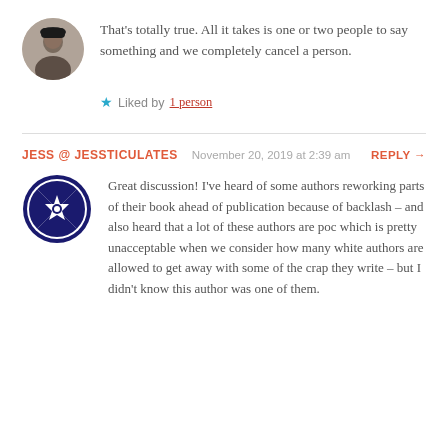That’s totally true. All it takes is one or two people to say something and we completely cancel a person.
★ Liked by 1 person
JESS @ JESSTICULATES   November 20, 2019 at 2:39 am   REPLY →
Great discussion! I’ve heard of some authors reworking parts of their book ahead of publication because of backlash – and also heard that a lot of these authors are poc which is pretty unacceptable when we consider how many white authors are allowed to get away with some of the crap they write – but I didn’t know this author was one of them.